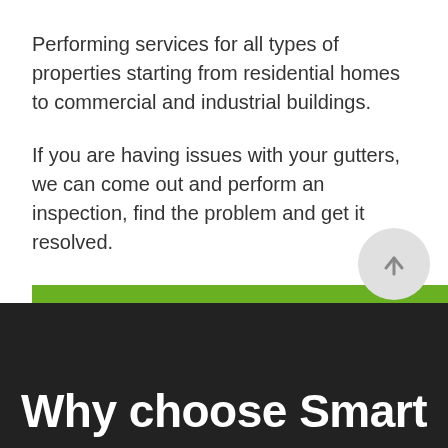Performing services for all types of properties starting from residential homes to commercial and industrial buildings.
If you are having issues with your gutters, we can come out and perform an inspection, find the problem and get it resolved.
[Figure (other): Green call-to-action button with white uppercase text reading GET MY FREE QUOTE]
[Figure (other): Circular scroll-to-top arrow button in light gray, positioned at right side]
Why choose Smart